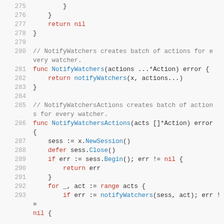Source code lines 275-293 in Go programming language showing NotifyWatchers and NotifyWatchersActions functions